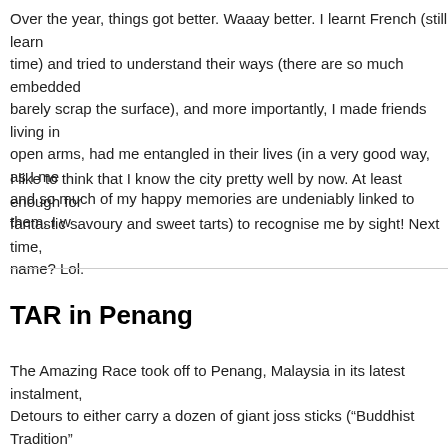Over the year, things got better. Waaay better. I learnt French (still learning all the time) and tried to understand their ways (there are so much embedded customs, I barely scrap the surface), and more importantly, I made friends living in France who, open arms, had me entangled in their lives (in a very good way, as I mean), and so much of my happy memories are undeniably linked to them. I w...
I like to think that I know the city pretty well by now. At least enough for fantastic savoury and sweet tarts) to recognise me by sight! Next time, name? Lol.
TAR in Penang
The Amazing Race took off to Penang, Malaysia in its latest instalment, Detours to either carry a dozen of giant joss sticks (“Buddhist Tradition” balancing chingay flags across a certain distance (“Chinese Custom”), a prepare a Hindu offering.